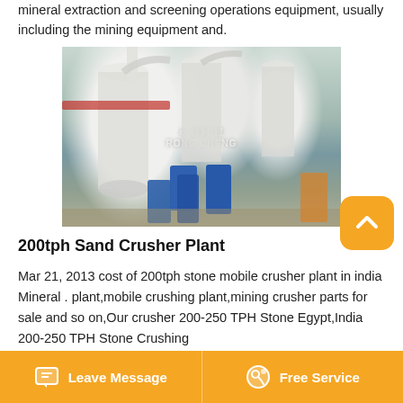mineral extraction and screening operations equipment, usually including the mining equipment and.
[Figure (photo): Industrial mineral processing / grinding mill equipment inside a factory building. Large white cylindrical machines with pipes and ducts, blue storage tanks in the foreground. Watermark text visible in center.]
200tph Sand Crusher Plant
Mar 21, 2013 cost of 200tph stone mobile crusher plant in india Mineral . plant,mobile crushing plant,mining crusher parts for sale and so on,Our crusher 200-250 TPH Stone Egypt,India 200-250 TPH Stone Crushing
Leave Message   Free Service